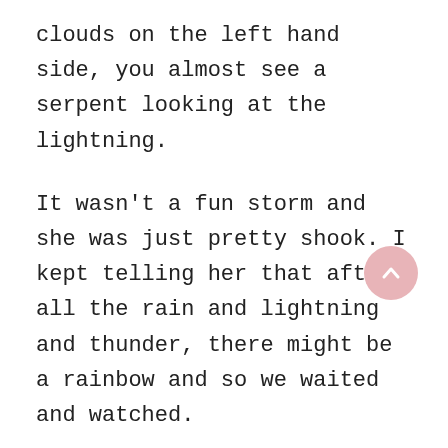clouds on the left hand side, you almost see a serpent looking at the lightning.
It wasn't a fun storm and she was just pretty shook. I kept telling her that after all the rain and lightning and thunder, there might be a rainbow and so we waited and watched.
Just a few minutes later, we didn't see a rainbow exactly, but look at that GORGEOUS sky full of rainbow